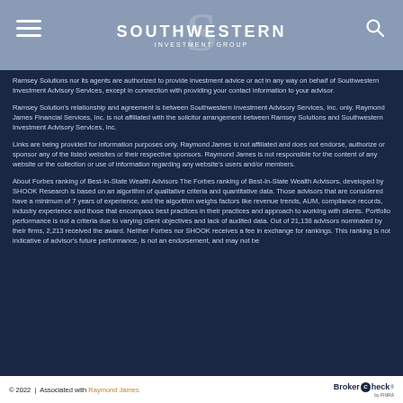SOUTHWESTERN INVESTMENT GROUP
Ramsey Solutions nor its agents are authorized to provide investment advice or act in any way on behalf of Southwestern Investment Advisory Services, except in connection with providing your contact information to your advisor.
Ramsey Solution's relationship and agreement is between Southwestern Investment Advisory Services, Inc. only. Raymond James Financial Services, Inc. is not affiliated with the solicitor arrangement between Ramsey Solutions and Southwestern Investment Advisory Services, Inc.
Links are being provided for information purposes only. Raymond James is not affiliated and does not endorse, authorize or sponsor any of the listed websites or their respective sponsors. Raymond James is not responsible for the content of any website or the collection or use of information regarding any website's users and/or members.
About Forbes ranking of Best-In-State Wealth Advisors The Forbes ranking of Best-In-State Wealth Advisors, developed by SHOOK Research is based on an algorithm of qualitative criteria and quantitative data. Those advisors that are considered have a minimum of 7 years of experience, and the algorithm weighs factors like revenue trends, AUM, compliance records, industry experience and those that encompass best practices in their practices and approach to working with clients. Portfolio performance is not a criteria due to varying client objectives and lack of audited data. Out of 21,138 advisors nominated by their firms, 2,213 received the award. Neither Forbes nor SHOOK receives a fee in exchange for rankings. This ranking is not indicative of advisor's future performance, is not an endorsement, and may not be
© 2022 | Associated with Raymond James